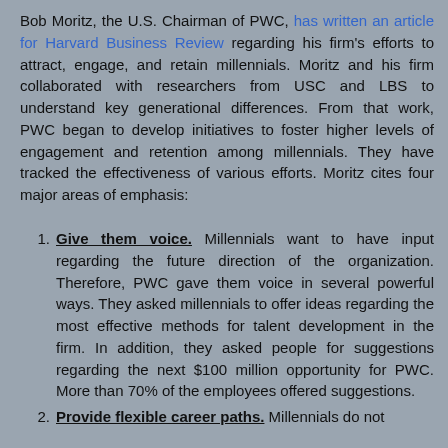Bob Moritz, the U.S. Chairman of PWC, has written an article for Harvard Business Review regarding his firm's efforts to attract, engage, and retain millennials. Moritz and his firm collaborated with researchers from USC and LBS to understand key generational differences. From that work, PWC began to develop initiatives to foster higher levels of engagement and retention among millennials. They have tracked the effectiveness of various efforts. Moritz cites four major areas of emphasis:
Give them voice. Millennials want to have input regarding the future direction of the organization. Therefore, PWC gave them voice in several powerful ways. They asked millennials to offer ideas regarding the most effective methods for talent development in the firm. In addition, they asked people for suggestions regarding the next $100 million opportunity for PWC. More than 70% of the employees offered suggestions.
Provide flexible career paths. Millennials do not...